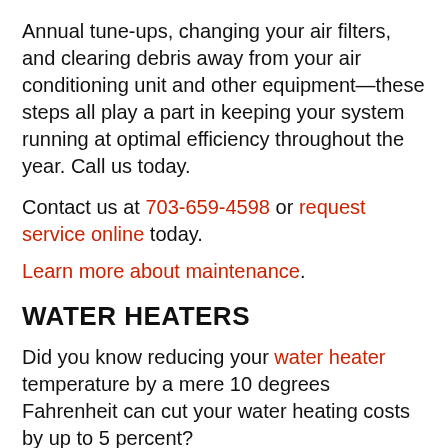Annual tune-ups, changing your air filters, and clearing debris away from your air conditioning unit and other equipment—these steps all play a part in keeping your system running at optimal efficiency throughout the year. Call us today.
Contact us at 703-659-4598 or request service online today.
Learn more about maintenance.
WATER HEATERS
Did you know reducing your water heater temperature by a mere 10 degrees Fahrenheit can cut your water heating costs by up to 5 percent?